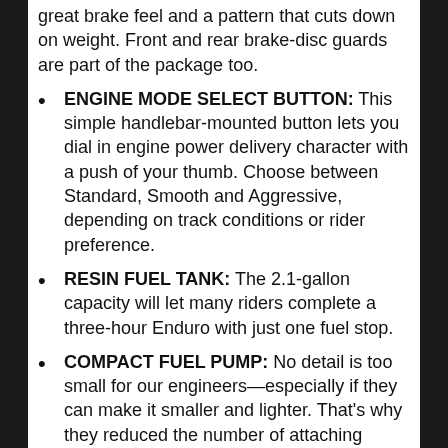great brake feel and a pattern that cuts down on weight. Front and rear brake-disc guards are part of the package too.
ENGINE MODE SELECT BUTTON: This simple handlebar-mounted button lets you dial in engine power delivery character with a push of your thumb. Choose between Standard, Smooth and Aggressive, depending on track conditions or rider preference.
RESIN FUEL TANK: The 2.1-gallon capacity will let many riders complete a three-hour Enduro with just one fuel stop.
COMPACT FUEL PUMP: No detail is too small for our engineers—especially if they can make it smaller and lighter. That's why they reduced the number of attaching fasteners from six to four last year.
RADIATOR SHROUDS: Using computer-aided Computational Fluid Dynamics, we've fine-tuned the CRF450RX's radiator shrouds to increase cooling. They're now a one-piece design, but more important, better cooling equals more consistent power, longer into a race, especially when you're really on the gas